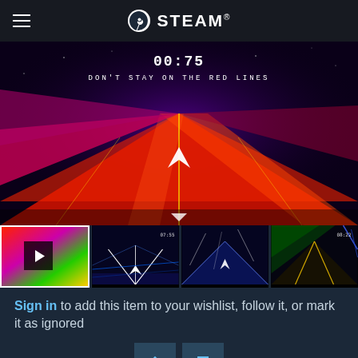STEAM
[Figure (screenshot): Game screenshot showing a racing/music game with red neon track, text '00:73' and 'DON'T STAY ON THE RED LINES' displayed on screen, with a white arrow/chevron shape in the middle of a red glowing road disappearing to a horizon]
[Figure (screenshot): Thumbnail row: first thumbnail shows colorful neon game scene with a play button overlay (video); second thumbnail shows blue neon lanes with white arrows; third thumbnail shows blue neon landscape with white streaks; fourth thumbnail shows yellow and green neon scene]
Sign in to add this item to your wishlist, follow it, or mark it as ignored
[Figure (other): Two action buttons: share/upload icon button and flag icon button, both teal/blue colored on dark blue background]
Buy BARRIER X